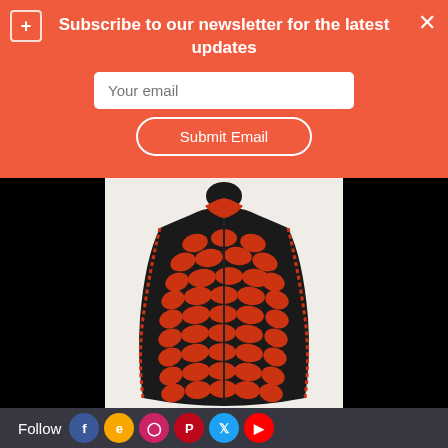Subscribe to our newsletter for the latest updates
Your email
Submit Email
[Figure (photo): A mannequin wearing a red and black leaf-pattern leather jacket with fringe edges, shown from a side-front angle against a light background.]
Follow